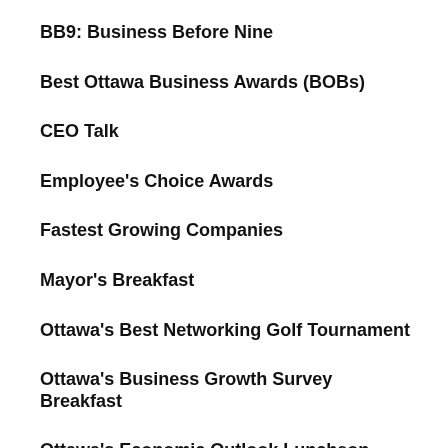BB9: Business Before Nine
Best Ottawa Business Awards (BOBs)
CEO Talk
Employee's Choice Awards
Fastest Growing Companies
Mayor's Breakfast
Ottawa's Best Networking Golf Tournament
Ottawa's Business Growth Survey Breakfast
Ottawa's Economic Outlook Luncheon
Post-Budget Breakfast
AWARDS:
Best Ottawa Business Awards (BOBs)